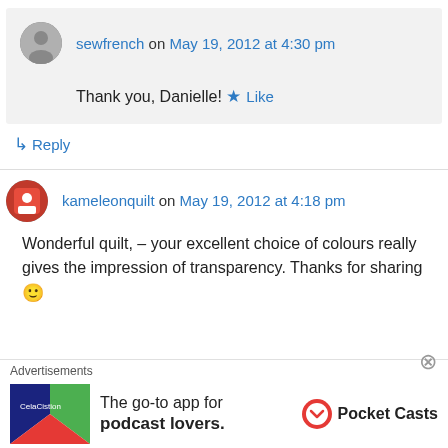sewfrench on May 19, 2012 at 4:30 pm
Thank you, Danielle!
Like
Reply
kameleonquilt on May 19, 2012 at 4:18 pm
Wonderful quilt, – your excellent choice of colours really gives the impression of transparency. Thanks for sharing 🙂
Advertisements
The go-to app for podcast lovers.